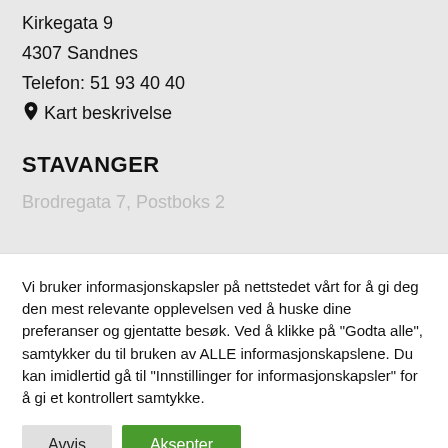Kirkegata 9
4307 Sandnes
Telefon: 51 93 40 40
Kart beskrivelse
STAVANGER
Brodregata 7, Postboks 2
Vi bruker informasjonskapsler på nettstedet vårt for å gi deg den mest relevante opplevelsen ved å huske dine preferanser og gjentatte besøk. Ved å klikke på "Godta alle", samtykker du til bruken av ALLE informasjonskapslene. Du kan imidlertid gå til "Innstillinger for informasjonskapsler" for å gi et kontrollert samtykke.
Avvis
Aksepter